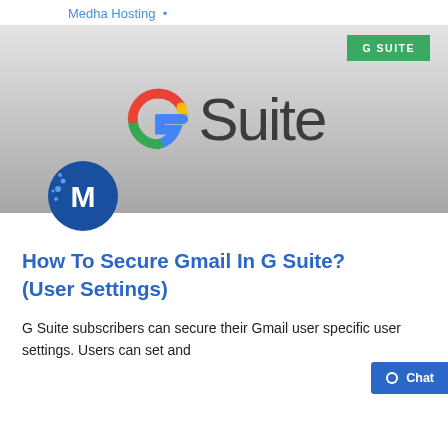Medha Hosting •
[Figure (logo): G Suite logo banner with Google G icon and 'Suite' text on a gray gradient background, with a green G SUITE badge in the top right and a blue M (Medha Hosting) logo at the bottom left]
How To Secure Gmail In G Suite? (User Settings)
G Suite subscribers can secure their Gmail user specific user settings. Users can set and